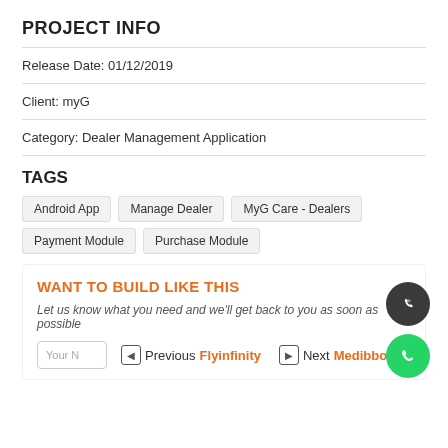PROJECT INFO
Release Date: 01/12/2019
Client: myG
Category: Dealer Management Application
TAGS
Android App
Manage Dealer
MyG Care - Dealers
Payment Module
Purchase Module
WANT TO BUILD LIKE THIS
Let us know what you need and we'll get back to you as soon as possible
Your | Previous Flyinfinity   Next Medibbo